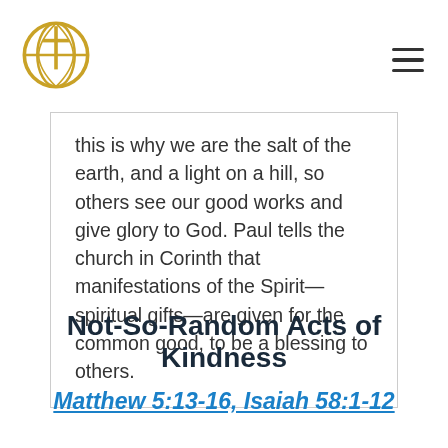[Church logo and navigation menu]
this is why we are the salt of the earth, and a light on a hill, so others see our good works and give glory to God. Paul tells the church in Corinth that manifestations of the Spirit—spiritual gifts—are given for the common good, to be a blessing to others.
Not-So-Random Acts of Kindness
Matthew 5:13-16, Isaiah 58:1-12